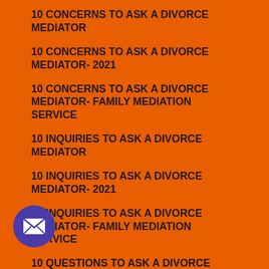10 CONCERNS TO ASK A DIVORCE MEDIATOR
10 CONCERNS TO ASK A DIVORCE MEDIATOR- 2021
10 CONCERNS TO ASK A DIVORCE MEDIATOR- FAMILY MEDIATION SERVICE
10 INQUIRIES TO ASK A DIVORCE MEDIATOR
10 INQUIRIES TO ASK A DIVORCE MEDIATOR- 2021
10 INQUIRIES TO ASK A DIVORCE MEDIATOR- FAMILY MEDIATION SERVICE
10 QUESTIONS TO ASK A DIVORCE MEDIATOR